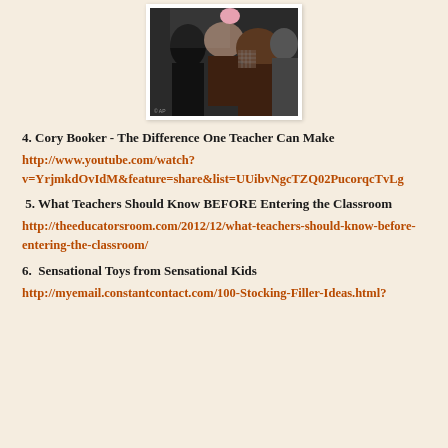[Figure (photo): Black and white/color photograph of people, appears to show students or individuals in an outdoor setting]
4. Cory Booker - The Difference One Teacher Can Make
http://www.youtube.com/watch?v=YrjmkdOvIdM&feature=share&list=UUibvNgcTZQ02PucorqcTvLg
5. What Teachers Should Know BEFORE Entering the Classroom
http://theeducatorsroom.com/2012/12/what-teachers-should-know-before-entering-the-classroom/
6.  Sensational Toys from Sensational Kids
http://myemail.constantcontact.com/100-Stocking-Filler-Ideas.html?